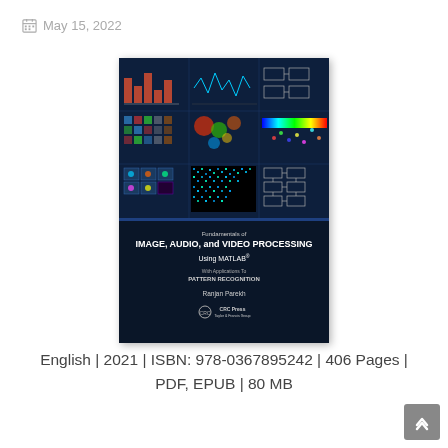May 15, 2022
[Figure (photo): Book cover of 'Fundamentals of IMAGE, AUDIO, and VIDEO PROCESSING Using MATLAB® With Applications To PATTERN RECOGNITION' by Ranjan Parekh, published by CRC Press]
English | 2021 | ISBN: 978-0367895242 | 406 Pages | PDF, EPUB | 80 MB